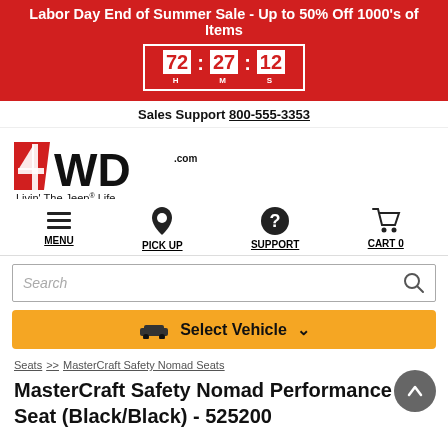Labor Day End of Summer Sale - Up to 50% Off 1000's of Items
72 H   27 M   12 S
Sales Support 800-555-3353
[Figure (logo): 4WD.com logo with text Livin' The Jeep Life]
MENU   PICK UP   SUPPORT   CART 0
Search
Select Vehicle
Seats >> MasterCraft Safety Nomad Seats
MasterCraft Safety Nomad Performance Seat (Black/Black) - 525200